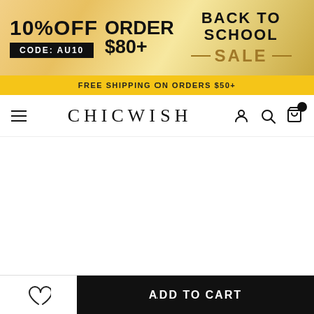[Figure (infographic): Chicwish promotional banner: 10% OFF order $80+ with code AU10, Back to School Sale]
FREE SHIPPING ON ORDERS $50+
CHICWISH
[Figure (photo): Product image area (white/empty)]
ADD TO CART